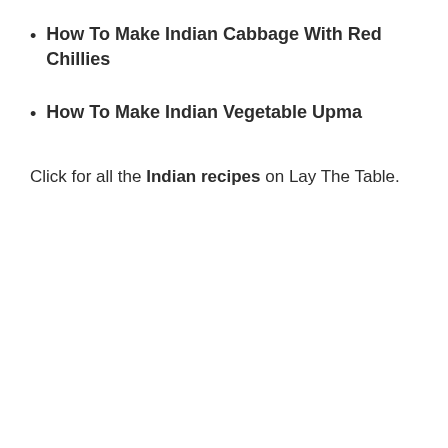How To Make Indian Cabbage With Red Chillies
How To Make Indian Vegetable Upma
Click for all the Indian recipes on Lay The Table.